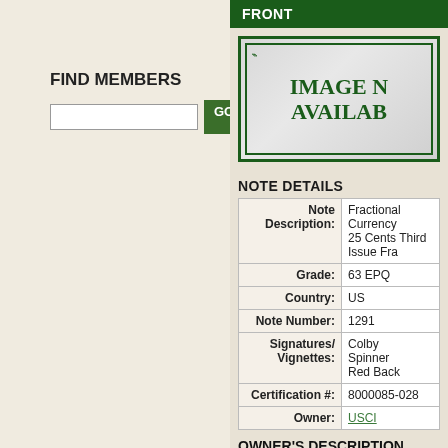FIND MEMBERS
[Figure (screenshot): Search input field with GO button]
FRONT
[Figure (photo): Image Not Available placeholder with ornamental border]
NOTE DETAILS
| Label | Value |
| --- | --- |
| Note Description: | Fractional Currency 25 Cents Third Issue Fra |
| Grade: | 63 EPQ |
| Country: | US |
| Note Number: | 1291 |
| Signatures/ Vignettes: | Colby Spinner Red Back |
| Certification #: | 8000085-028 |
| Owner: | USCI |
OWNER'S DESCRIPTION
EPQ, Great Embossing, Great Color